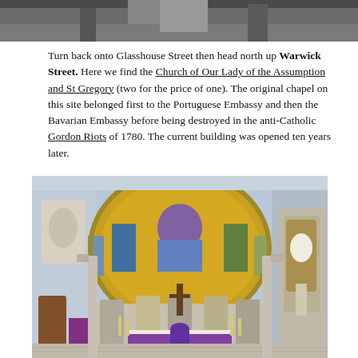[Figure (photo): Partial view of a building interior or exterior, cropped at top of page]
Turn back onto Glasshouse Street then head north up Warwick Street. Here we find the Church of Our Lady of the Assumption and St Gregory (two for the price of one). The original chapel on this site belonged first to the Portuguese Embassy and then the Bavarian Embassy before being destroyed in the anti-Catholic Gordon Riots of 1780. The current building was opened ten years later.
[Figure (photo): Interior of the Church of Our Lady of the Assumption and St Gregory, showing the ornate golden mosaic apse, altar with purple frontal, statues in niches, marble columns, and side chapel on the right.]